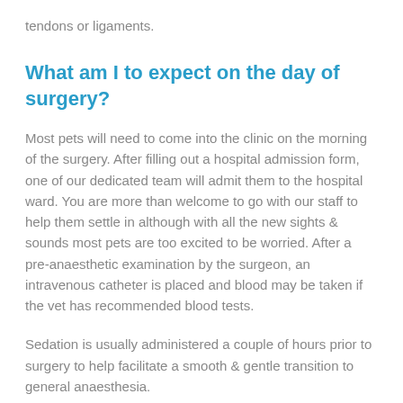tendons or ligaments.
What am I to expect on the day of surgery?
Most pets will need to come into the clinic on the morning of the surgery. After filling out a hospital admission form, one of our dedicated team will admit them to the hospital ward. You are more than welcome to go with our staff to help them settle in although with all the new sights & sounds most pets are too excited to be worried. After a pre-anaesthetic examination by the surgeon, an intravenous catheter is placed and blood may be taken if the vet has recommended blood tests.
Sedation is usually administered a couple of hours prior to surgery to help facilitate a smooth & gentle transition to general anaesthesia.